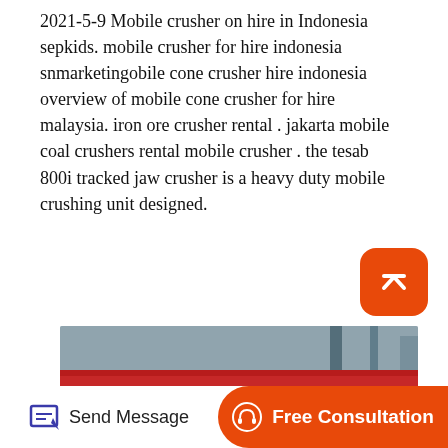2021-5-9 Mobile crusher on hire in Indonesia sepkids. mobile crusher for hire indonesia snmarketingobile cone crusher hire indonesia overview of mobile cone crusher for hire malaysia. iron ore crusher rental . jakarta mobile coal crushers rental mobile crusher . the tesab 800i tracked jaw crusher is a heavy duty mobile crushing unit designed.
[Figure (photo): Industrial factory floor showing large jaw crushers with distinctive large black and red flywheel wheels, white machine bodies, and red overhead crane beams in a steel-framed factory building.]